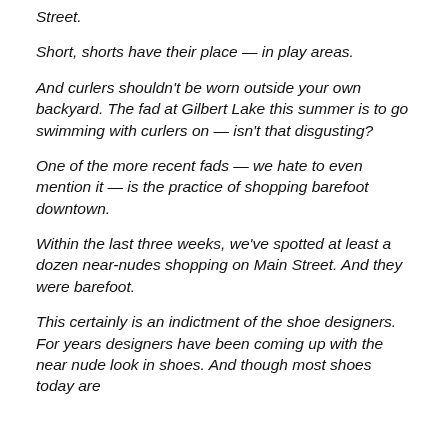Street.
Short, shorts have their place — in play areas.
And curlers shouldn't be worn outside your own backyard. The fad at Gilbert Lake this summer is to go swimming with curlers on — isn't that disgusting?
One of the more recent fads — we hate to even mention it — is the practice of shopping barefoot downtown.
Within the last three weeks, we've spotted at least a dozen near-nudes shopping on Main Street. And they were barefoot.
This certainly is an indictment of the shoe designers. For years designers have been coming up with the near nude look in shoes. And though most shoes today are